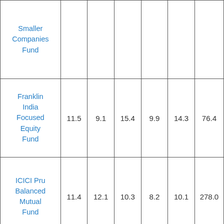| Fund Name |  |  |  |  |  |  |
| --- | --- | --- | --- | --- | --- | --- |
| Smaller Companies Fund |  |  |  |  |  |  |
| Franklin India Focused Equity Fund | 11.5 | 9.1 | 15.4 | 9.9 | 14.3 | 76.4 |
| ICICI Pru Balanced Mutual Fund | 11.4 | 12.1 | 10.3 | 8.2 | 10.1 | 278.0 |
| HDFC Balanced | 13.0 | 11.4 | 10.3 | 8.2 | 10.1 | 201.9 |